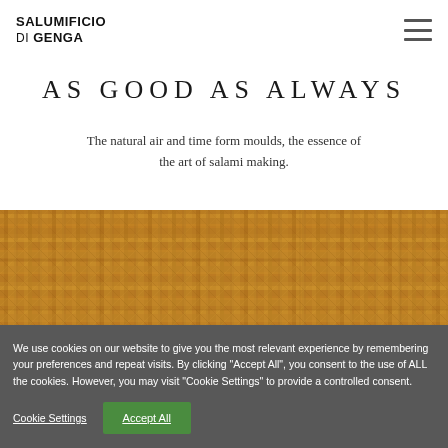SALUMIFICIO di GENGA
AS GOOD AS ALWAYS
The natural air and time form moulds, the essence of the art of salami making.
[Figure (photo): Close-up photo of wicker/basket weave texture in warm brown and golden tones]
We use cookies on our website to give you the most relevant experience by remembering your preferences and repeat visits. By clicking "Accept All", you consent to the use of ALL the cookies. However, you may visit "Cookie Settings" to provide a controlled consent.
Cookie Settings | Accept All